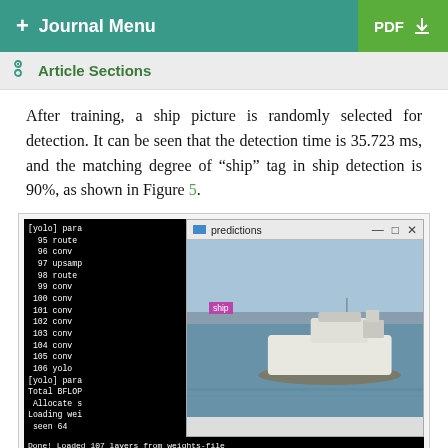+ Journal Menu | PDF
Article Sections
After training, a ship picture is randomly selected for detection. It can be seen that the detection time is 35.723 ms, and the matching degree of "ship" tag in ship detection is 90%, as shown in Figure 5.
[Figure (screenshot): Screenshot showing a terminal window with YOLO layer output on the left and a 'predictions' window on the right showing a white ship on water with a 'ship' detection label. Bottom shows terminal text: Done! Loaded 107 layers from weights-file, Enter Image Path: C:\Users\77532\Desktop\b.jpg, C:\Users\77532\Desktop\b.jpg: Predicted in 35.7230, ship: 90%  (left_x: 29  top_y: 222  widt]